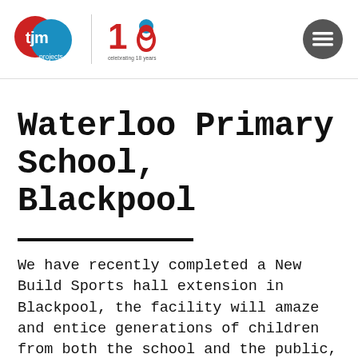[Figure (logo): TJM Projects logo with red and blue overlapping circles, and a '18 - celebrating 18 years' badge logo, plus a hamburger menu icon on the right]
Waterloo Primary School, Blackpool
We have recently completed a New Build Sports hall extension in Blackpool, the facility will amaze and entice generations of children from both the school and the public, to play sports for years to come. With its large overhead imitation Glulam beams supplied